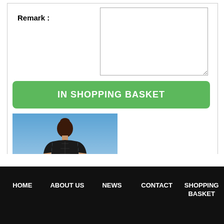Remark :
[Figure (photo): Woman wearing a black evening gown, viewed from behind, standing on sandy ground with blue sky background]
IN SHOPPING BASKET
HOME
ABOUT US
NEWS
CONTACT
SHOPPING BASKET